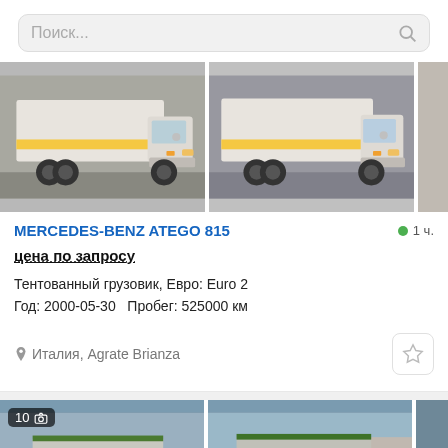Поиск...
[Figure (photo): Two photos of a white Mercedes-Benz Atego 815 truck with yellow stripe, front/side view, outdoor setting]
MERCEDES-BENZ ATEGO 815
1 ч.
цена по запросу
Тентованный грузовик, Евро: Euro 2
Год: 2000-05-30   Пробег: 525000 км
Италия, Agrate Brianza
[Figure (photo): Two photos of a white Mercedes-Benz Actros dump truck, side view, outdoor/industrial setting, photo count badge showing 10]